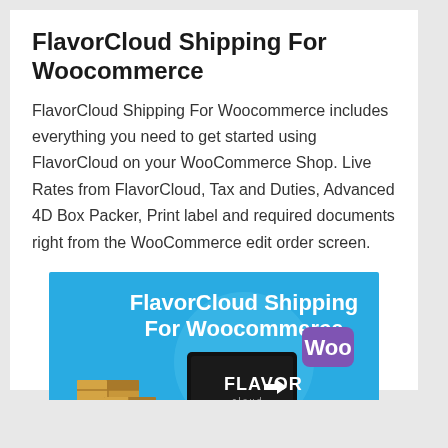FlavorCloud Shipping For Woocommerce
FlavorCloud Shipping For Woocommerce includes everything you need to get started using FlavorCloud on your WooCommerce Shop. Live Rates from FlavorCloud, Tax and Duties, Advanced 4D Box Packer, Print label and required documents right from the WooCommerce edit order screen.
[Figure (illustration): Promotional banner image for FlavorCloud Shipping For Woocommerce plugin. Blue background with text 'FlavorCloud Shipping For Woocommerce' in white bold font. Shows cardboard boxes on the left, a computer monitor in the center displaying 'FLAVOR cloud' logo with an arrow, a WooCommerce 'Woo' purple logo badge in upper right, a cloud icon, and an API gear badge.]